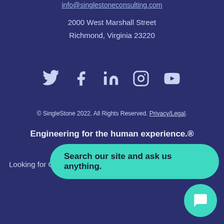info@singlestoneconsulting.com
2000 West Marshall Street
Richmond, Virginia 23220
[Figure (infographic): Social media icons: Twitter, Facebook, LinkedIn, Instagram, YouTube]
© SingleStone 2022. All Rights Reserved. Privacy/Legal.
Engineering for the human experience.®
Looking for C...
[Figure (infographic): Teal rounded pill search prompt reading 'Search our site and ask us anything.']
[Figure (infographic): Teal circular chat icon button in bottom right corner]